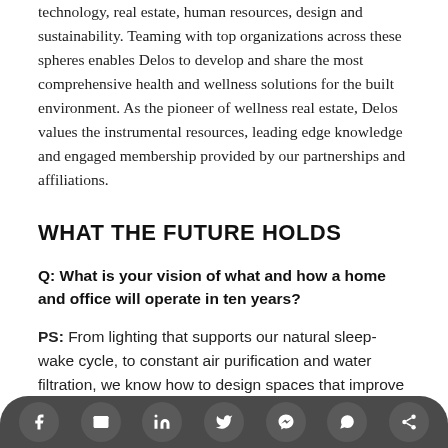technology, real estate, human resources, design and sustainability. Teaming with top organizations across these spheres enables Delos to develop and share the most comprehensive health and wellness solutions for the built environment. As the pioneer of wellness real estate, Delos values the instrumental resources, leading edge knowledge and engaged membership provided by our partnerships and affiliations.
WHAT THE FUTURE HOLDS
Q: What is your vision of what and how a home and office will operate in ten years?
PS: From lighting that supports our natural sleep-wake cycle, to constant air purification and water filtration, we know how to design spaces that improve our lives. We